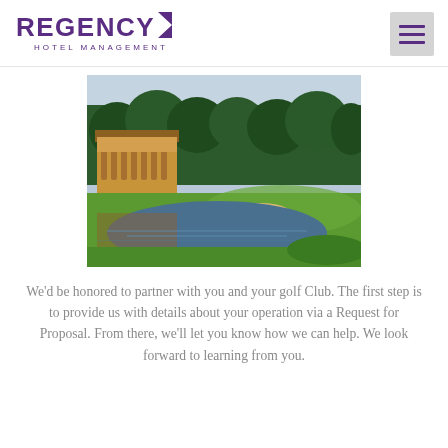Regency Hotel Management
[Figure (photo): Golf course with a large clubhouse building reflected in a pond, surrounded by green fairways and trees]
We'd be honored to partner with you and your golf Club. The first step is to provide us with details about your operation via a Request for Proposal. From there, we'll let you know how we can help. We look forward to learning from you.